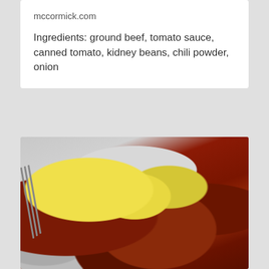mccormick.com
Ingredients: ground beef, tomato sauce, canned tomato, kidney beans, chili powder, onion
[Figure (photo): Close-up photo of a bowl of chili topped with shredded yellow cheese, green onions, and visible chunks of meat in a rich dark red sauce, served in a white bowl with a fork visible on the left side]